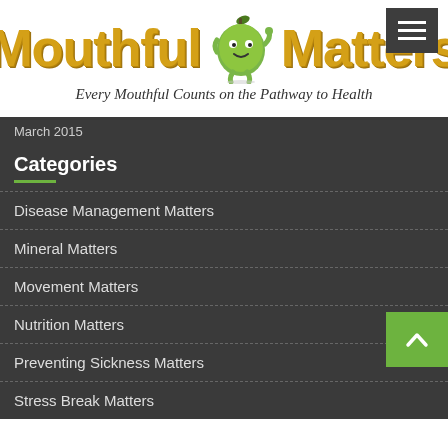[Figure (logo): Mouthful Matters logo with green apple mascot character and gold bold text]
Every Mouthful Counts on the Pathway to Health
March 2015
Categories
Disease Management Matters
Mineral Matters
Movement Matters
Nutrition Matters
Preventing Sickness Matters
Stress Break Matters